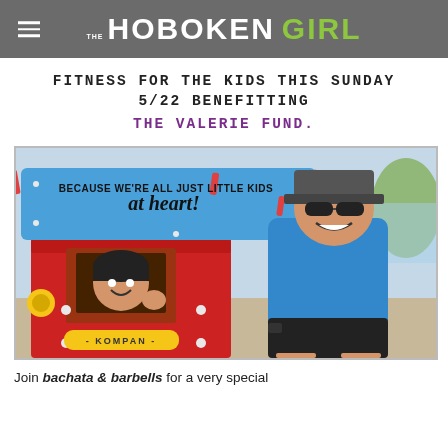THE HOBOKEN GIRL
FITNESS FOR THE KIDS THIS SUNDAY 5/22 BENEFITTING THE VALERIE FUND.
[Figure (photo): Two people posing at a KOMPAN playground structure. A woman is peeking through a window of the red and blue playhouse, and a man in a blue shirt and cap is crouching beside it smiling. The blue sign reads 'BECAUSE WE'RE ALL JUST LITTLE KIDS at heart!']
Join bachata & barbells for a very special